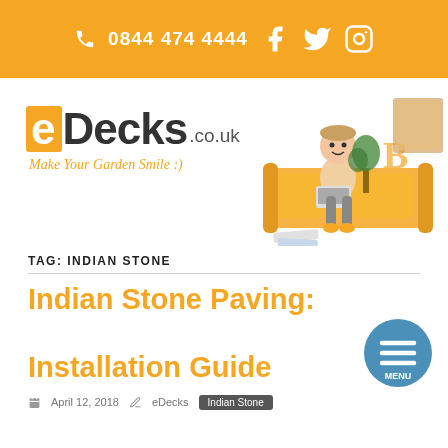0844 474 4444
[Figure (logo): eDecks.co.uk logo with tagline 'Make Your Garden Smile :)' and illustrated character sitting on sofa with laptop]
TAG: INDIAN STONE
Indian Stone Paving: Installation Guide
April 12, 2018 · eDecks · Indian Stone